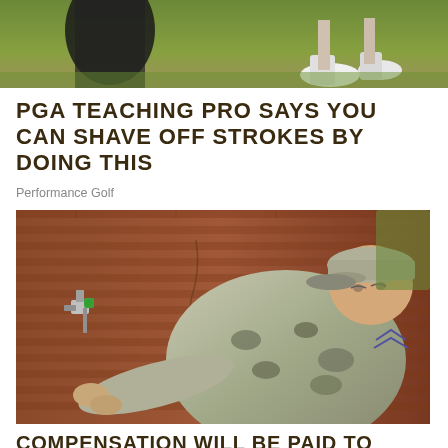[Figure (photo): Partial photo of golf scene showing people's legs and feet on a green grass golf course, with a dark golf bag visible]
PGA TEACHING PRO SAYS YOU CAN SHAVE OFF STROKES BY DOING THIS
Performance Golf
[Figure (photo): A military service member in camouflage uniform and cap closely examining or working on a water valve or pipe fitting on a brick wall]
COMPENSATION WILL BE PAID TO CAMP LEJEUNE RESIDENTS (1950...